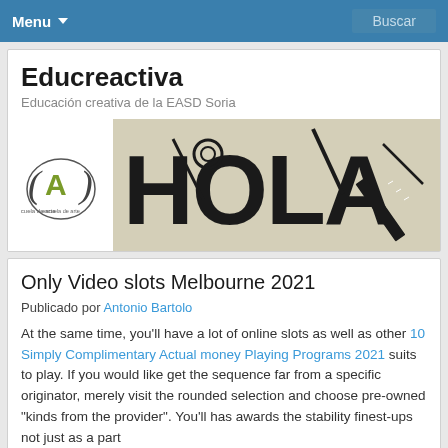Menu  Buscar
Educreactiva
Educación creativa de la EASD Soria
[Figure (illustration): Logo of escuela de arte (a stylized letter A in a circle with text underneath) on the left, and a decorative graphic spelling HOLA with art tools (ruler, pencil, compass, etc.) on a beige background on the right.]
Only Video slots Melbourne 2021
Publicado por Antonio Bartolo
At the same time, you'll have a lot of online slots as well as other 10 Simply Complimentary Actual money Playing Programs 2021 suits to play. If you would like get the sequence far from a specific originator, merely visit the rounded selection and choose pre-owned "kinds from the provider". You'll has awards the stability finest-ups not just as a part